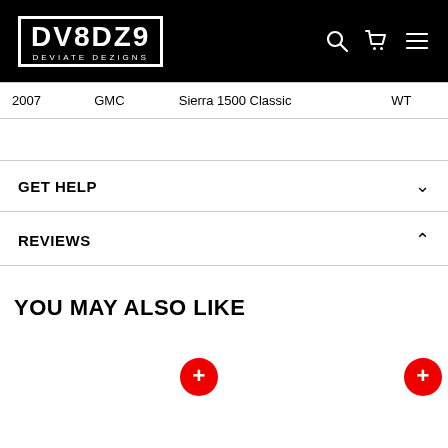DV8DZ9 DEVIATE DEZIGNS
| 2007 | GMC | Sierra 1500 Classic | WT |
GET HELP
REVIEWS
YOU MAY ALSO LIKE
[Figure (other): Two product card placeholders with red circular add-to-cart buttons showing plus sign]